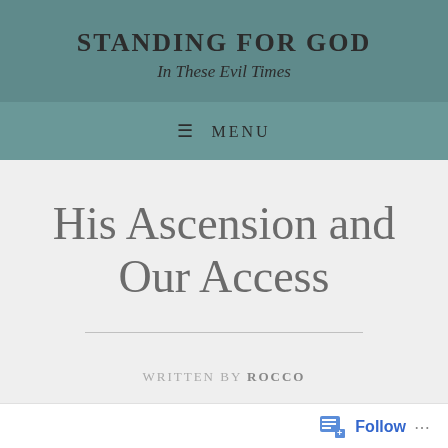STANDING FOR GOD
In These Evil Times
≡ MENU
His Ascension and Our Access
WRITTEN BY ROCCO
Follow ...